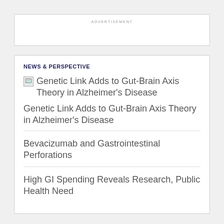ADVERTISEMENT
NEWS & PERSPECTIVE
Genetic Link Adds to Gut-Brain Axis Theory in Alzheimer's Disease
Genetic Link Adds to Gut-Brain Axis Theory in Alzheimer's Disease
Bevacizumab and Gastrointestinal Perforations
High GI Spending Reveals Research, Public Health Need